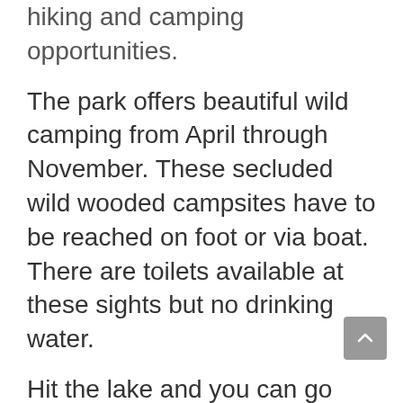hiking and camping opportunities.
The park offers beautiful wild camping from April through November. These secluded wild wooded campsites have to be reached on foot or via boat. There are toilets available at these sights but no drinking water.
Hit the lake and you can go kayaking or canoeing or rent boats. There is also a 300-foot marked swim area with a nice sandy bottom.
Buckhorn is one of the best state parks for fishing near Wisconsin Dells. The Castle